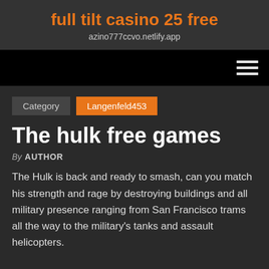full tilt casino 25 free
azino777ccvo.netlify.app
[Figure (other): Navigation bar with hamburger menu icon on black background]
Category  Langenfeld453
The hulk free games
By AUTHOR
The Hulk is back and ready to smash, can you match his strength and rage by destroying buildings and all military presence ranging from San Francisco trams all the way to the military's tanks and assault helicopters.